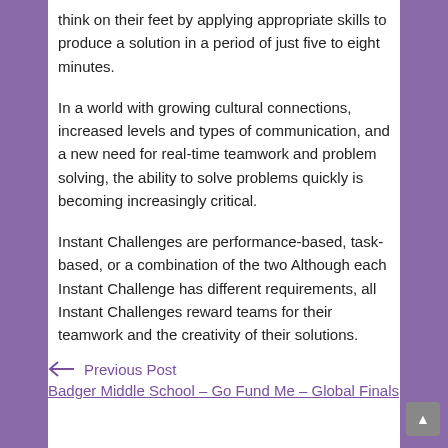think on their feet by applying appropriate skills to produce a solution in a period of just five to eight minutes.
In a world with growing cultural connections, increased levels and types of communication, and a new need for real-time teamwork and problem solving, the ability to solve problems quickly is becoming increasingly critical.
Instant Challenges are performance-based, task-based, or a combination of the two Although each Instant Challenge has different requirements, all Instant Challenges reward teams for their teamwork and the creativity of their solutions. Instant Challenges are kept confidential through the day of the tournament.
← Previous Post
Badger Middle School – Go Fund Me – Global Finals